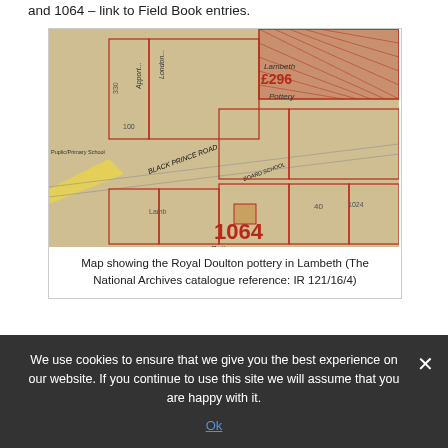and 1064 – link to Field Book entries.
[Figure (map): Historical map showing the Royal Doulton pottery in Lambeth, featuring street names including Black Prince Road, plot numbers including 1064, and annotations including 'Lambeth Pottery'. The map is in a beige/cream tone with red outlines for buildings and a yellow highlighted street.]
Map showing the Royal Doulton pottery in Lambeth (The National Archives catalogue reference: IR 121/16/4)
We use cookies to ensure that we give you the best experience on our website. If you continue to use this site we will assume that you are happy with it.
Ok